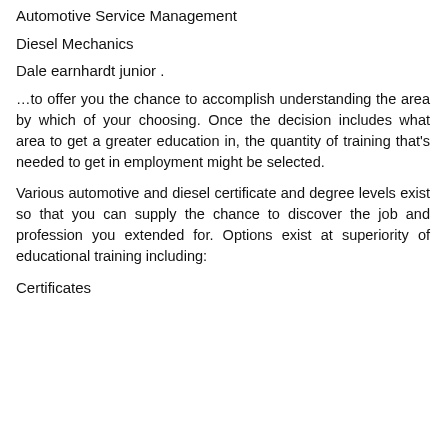Automotive Service Management
Diesel Mechanics
Dale earnhardt junior .
…to offer you the chance to accomplish understanding the area by which of your choosing. Once the decision includes what area to get a greater education in, the quantity of training that's needed to get in employment might be selected.
Various automotive and diesel certificate and degree levels exist so that you can supply the chance to discover the job and profession you extended for. Options exist at superiority of educational training including:
Certificates